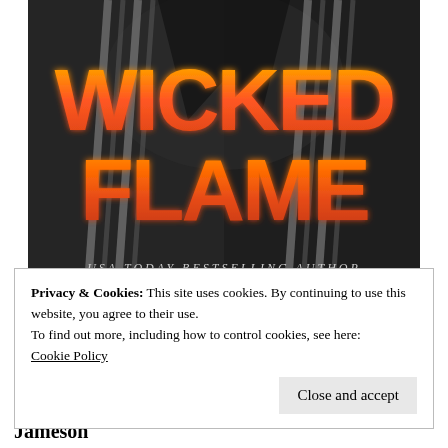[Figure (illustration): Book cover for 'Wicked Flame' by a USA Today Bestselling Author. Black and white photo of two people in suits with striped ties. The title 'WICKED FLAME' is displayed in large fiery orange letters. Text at bottom reads 'USA TODAY BESTSELLING AUTHOR'.]
Privacy & Cookies: This site uses cookies. By continuing to use this website, you agree to their use.
To find out more, including how to control cookies, see here:
Cookie Policy
Close and accept
Jameson